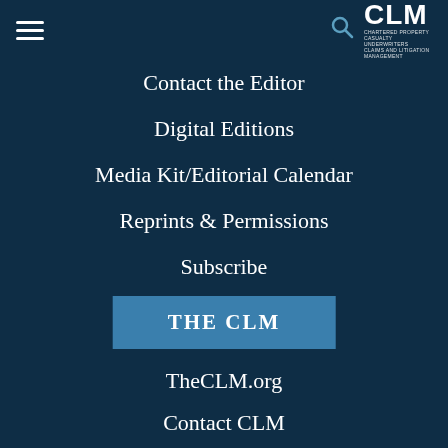CLM - navigation header with hamburger menu, search icon, and CLM logo
Contact the Editor
Digital Editions
Media Kit/Editorial Calendar
Reprints & Permissions
Subscribe
THE CLM
TheCLM.org
Contact CLM
Event Calendar
Job Search